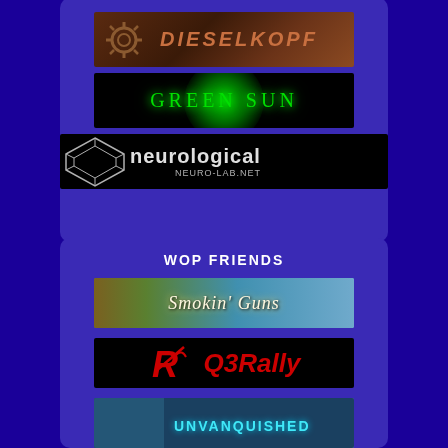[Figure (logo): DIESELKOPF banner with gear icon and orange metallic text on brown background]
[Figure (logo): GREEN SUN banner with glowing green radial glow on black background]
[Figure (logo): Neurological neuro-lab.net banner with geometric diamond logo on black background]
WOP FRIENDS
[Figure (logo): Smokin' Guns banner with western town background]
[Figure (logo): Q3Rally banner with red Q3Rally logo on black background]
[Figure (logo): Unvanquished banner with teal text on blue background]